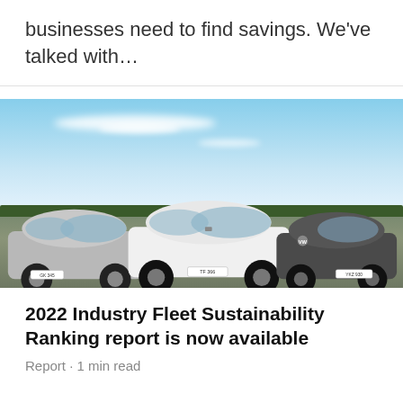businesses need to find savings. We've talked with…
[Figure (photo): Three electric cars parked in a row outdoors under a blue sky with scattered clouds: a silver Nissan Leaf on the left, a white CUPRA Born in the center, and a dark Volkswagen ID.3 on the right. Trees and water visible in the background.]
2022 Industry Fleet Sustainability Ranking report is now available
Report · 1 min read